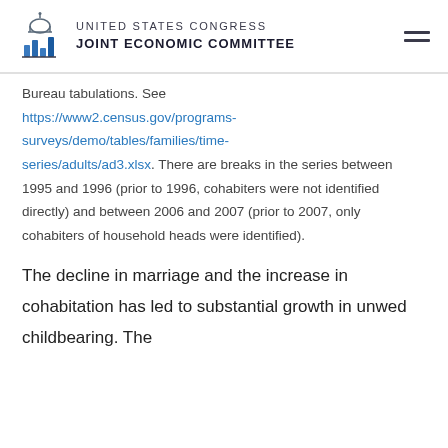UNITED STATES CONGRESS JOINT ECONOMIC COMMITTEE
Bureau tabulations. See https://www2.census.gov/programs-surveys/demo/tables/families/time-series/adults/ad3.xlsx. There are breaks in the series between 1995 and 1996 (prior to 1996, cohabiters were not identified directly) and between 2006 and 2007 (prior to 2007, only cohabiters of household heads were identified).
The decline in marriage and the increase in cohabitation has led to substantial growth in unwed childbearing. The